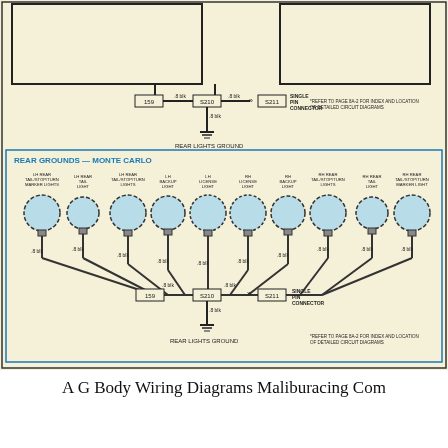[Figure (schematic): Automotive wiring diagram showing rear grounds for Monte Carlo (G Body). Top section shows partial wiring with connectors S210, S211, ground symbol, and label 'REAR LIGHTS GROUND'. Bottom section labeled 'REAR GROUNDS — MONTE CARLO' shows 10 light components (LH/RH rear tail/stop/turn marker lights, tail lights, backup lights, license lights) connected via .8 blk wires converging at connectors 159, S210, S211 and a single pin connector down to a rear lights ground symbol. Note references page 8A-2 for index and location of detailed circuit diagrams.]
A G Body Wiring Diagrams Maliburacing Com